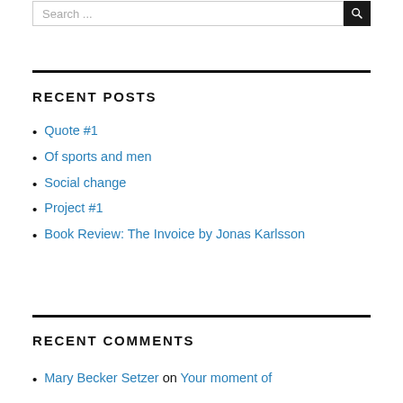RECENT POSTS
Quote #1
Of sports and men
Social change
Project #1
Book Review: The Invoice by Jonas Karlsson
RECENT COMMENTS
Mary Becker Setzer on Your moment of